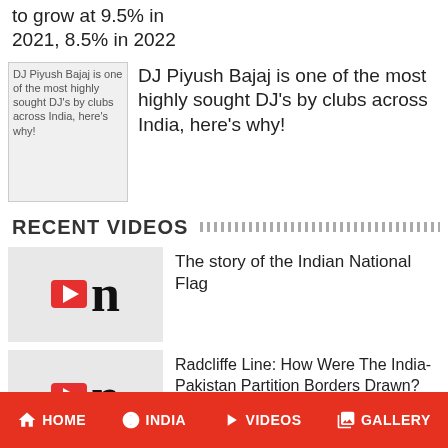to grow at 9.5% in 2021, 8.5% in 2022
[Figure (photo): Broken image placeholder for DJ Piyush Bajaj article]
DJ Piyush Bajaj is one of the most highly sought DJ’s by clubs across India, here’s why!
RECENT VIDEOS
[Figure (screenshot): Video thumbnail with play button and n logo for Indian National Flag story]
The story of the Indian National Flag
[Figure (screenshot): Video thumbnail with play button and n logo for Radcliffe Line story]
Radcliffe Line: How Were The India-Pakistan Partition Borders Drawn?
HOME  INDIA  VIDEOS  GALLERY